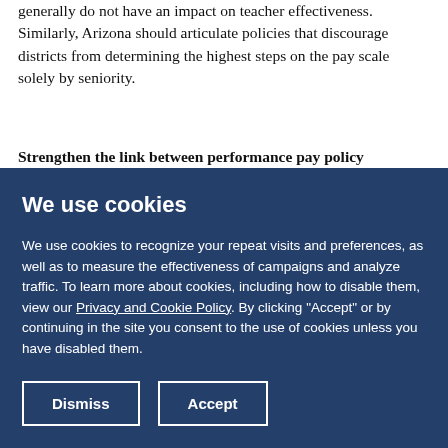generally do not have an impact on teacher effectiveness. Similarly, Arizona should articulate policies that discourage districts from determining the highest steps on the pay scale solely by seniority.
Strengthen the link between performance pay policy
We use cookies
We use cookies to recognize your repeat visits and preferences, as well as to measure the effectiveness of campaigns and analyze traffic. To learn more about cookies, including how to disable them, view our Privacy and Cookie Policy. By clicking "Accept" or by continuing in the site you consent to the use of cookies unless you have disabled them.
Dismiss
Accept